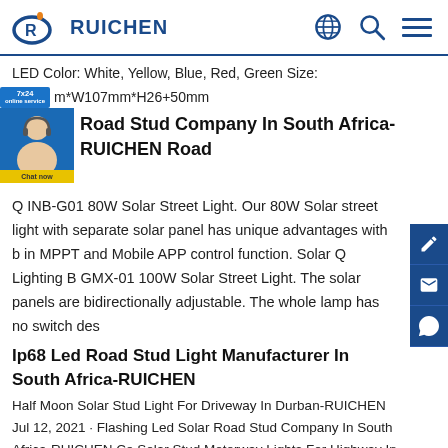RUICHEN
LED Color: White, Yellow, Blue, Red, Green Size:
m*W107mm*H26+50mm
Road Stud Company In South Africa-RUICHEN Road
Q INB-G01 80W Solar Street Light. Our 80W Solar street light with separate solar panel has unique advantages with b in MPPT and Mobile APP control function. Solar Q Lighting B GMX-01 100W Solar Street Light. The solar panels are bidirectionally adjustable. The whole lamp has no switch des
Ip68 Led Road Stud Light Manufacturer In South Africa-RUICHEN
Half Moon Solar Stud Light For Driveway In Durban-RUICHEN Jul 12, 2021 · Flashing Led Solar Road Stud Company In South Africa-RUICHEN Ce Solar Stud Motorway Lights For Highway In